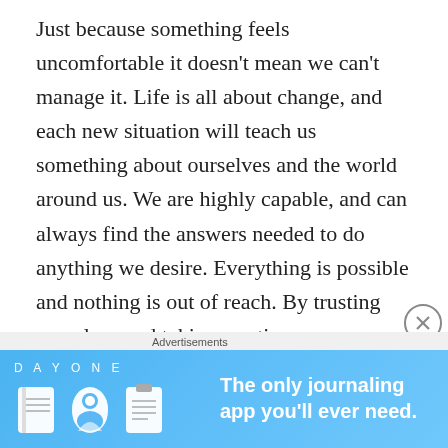Just because something feels uncomfortable it doesn't mean we can't manage it. Life is all about change, and each new situation will teach us something about ourselves and the world around us. We are highly capable, and can always find the answers needed to do anything we desire. Everything is possible and nothing is out of reach. By trusting ourselves and taking our time, we can accomplish anything we desire. Success is always there for us and with determination and confidence, we will reach it.

Today if your first response to a new situation is keeping you from proceeding, look at everything objectively and believe in yourself. You are stronger and more powerful
Advertisements
[Figure (other): DAY ONE journaling app advertisement banner with blue background, app icons, and tagline 'The only journaling app you'll ever need.']